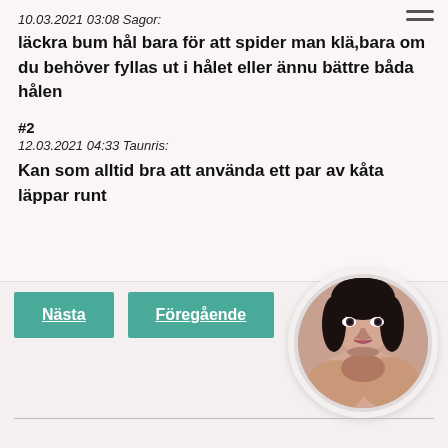10.03.2021 03:08 Sagor:
läckra bum hål bara för att spider man klä,bara om du behöver fyllas ut i hålet eller ännu bättre båda hålen
#2
12.03.2021 04:33 Taunris:
Kan som alltid bra att använda ett par av kåta läppar runt
[Figure (photo): Circular avatar photo of a woman with dark hair]
Nästa
Föregående